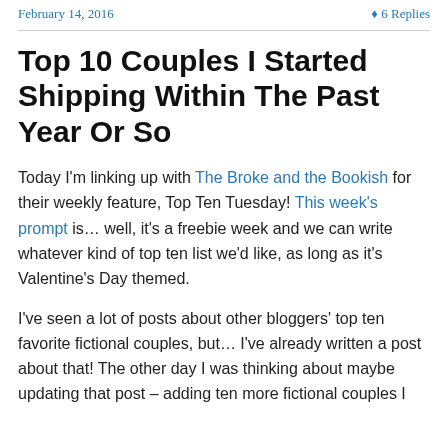February 14, 2016   ♦ 6 Replies
Top 10 Couples I Started Shipping Within The Past Year Or So
Today I'm linking up with The Broke and the Bookish for their weekly feature, Top Ten Tuesday! This week's prompt is… well, it's a freebie week and we can write whatever kind of top ten list we'd like, as long as it's Valentine's Day themed.
I've seen a lot of posts about other bloggers' top ten favorite fictional couples, but… I've already written a post about that! The other day I was thinking about maybe updating that post – adding ten more fictional couples I